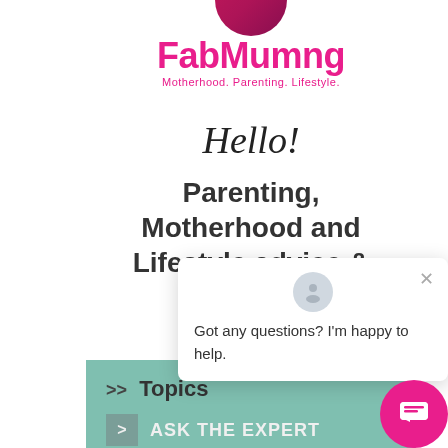[Figure (logo): FabMumng logo with pink text and tagline 'Motherhood. Parenting. Lifestyle.']
Hello!
Parenting, Motherhood and Lifestyle advice & tips
>> Topics
ASK THE EXPERT
(45)
[Figure (screenshot): Chat popup widget with user avatar, close button (×), and message 'Got any questions? I'm happy to help.' with pink chat FAB button]